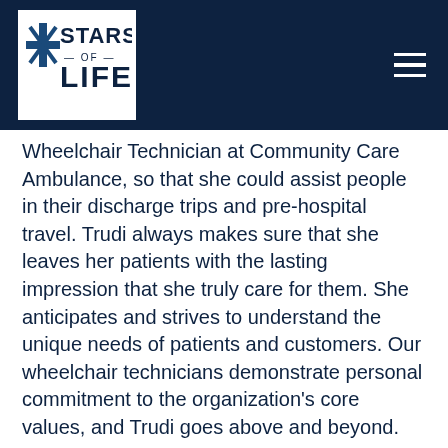[Figure (logo): Stars of Life logo — white text on dark navy background with an EMS Star of Life symbol beside the words STARS OF LIFE]
Wheelchair Technician at Community Care Ambulance, so that she could assist people in their discharge trips and pre-hospital travel. Trudi always makes sure that she leaves her patients with the lasting impression that she truly care for them. She anticipates and strives to understand the unique needs of patients and customers. Our wheelchair technicians demonstrate personal commitment to the organization’s core values, and Trudi goes above and beyond.
Trudi’s coworkers describe her as someone who puts patients before herself, ensures that patients are kept comfortable and safe at all times, always has a positive attitude, and